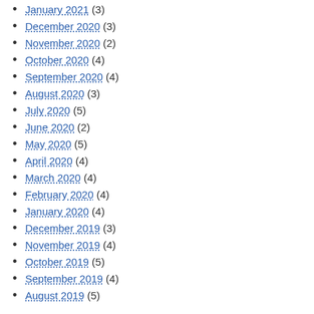January 2021 (3)
December 2020 (3)
November 2020 (2)
October 2020 (4)
September 2020 (4)
August 2020 (3)
July 2020 (5)
June 2020 (2)
May 2020 (5)
April 2020 (4)
March 2020 (4)
February 2020 (4)
January 2020 (4)
December 2019 (3)
November 2019 (4)
October 2019 (5)
September 2019 (4)
August 2019 (5)